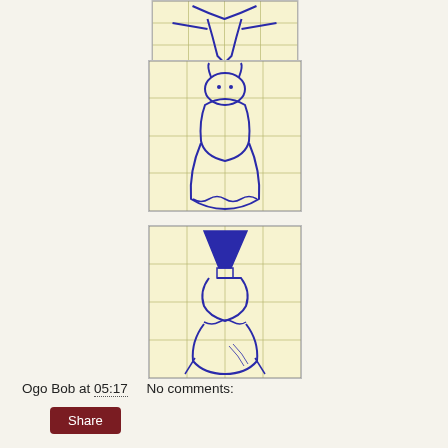[Figure (illustration): Partial view of a hand-drawn sketch on grid paper showing a figure with outstretched arms, drawn in blue ink on yellow grid paper. Only the bottom portion is visible, cropped at top.]
[Figure (illustration): Hand-drawn sketch on yellow grid paper of a rounded creature or character with a large bell-shaped lower body and small head with horns or ears, drawn in blue ink.]
[Figure (illustration): Hand-drawn sketch on yellow grid paper of an hourglass or vase-shaped figure with a triangular top section and wider bottom, drawn in blue ink.]
Ogo Bob at 05:17    No comments:
Share